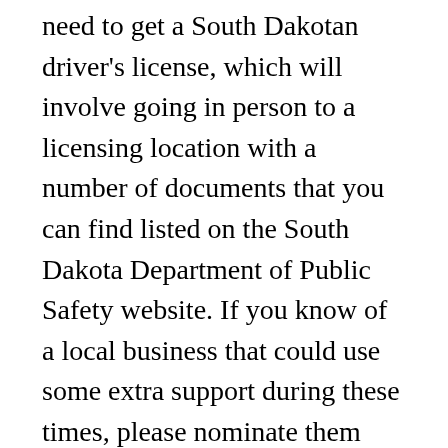need to get a South Dakotan driver's license, which will involve going in person to a licensing location with a number of documents that you can find listed on the South Dakota Department of Public Safety website. If you know of a local business that could use some extra support during these times, please nominate them here: Our cost of living is less than the national average, and we don't have personal income tax or personal property tax. 1. In the summer, temperatures hover close to 90 °F during the daytime. Moving to South Dakota. Pack well. For those of us who have been out of school for a long time, South Dakota is actuallypart